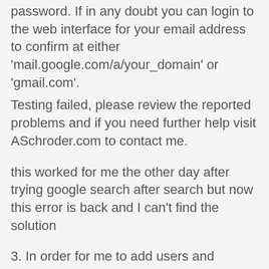password. If in any doubt you can login to the web interface for your email address to confirm at either 'mail.google.com/a/your_domain' or 'gmail.com'.
Testing failed, please review the reported problems and if you need further help visit ASchroder.com to contact me.
this worked for me the other day after trying google search after search but now this error is back and I can't find the solution
3. In order for me to add users and activate the email i need to change MX records, however I can't find this file. I was told by my boss that godaddy was the hosting. But that hosting if the proper address and not the address we currently have. (proper being shoppingirlgear and not